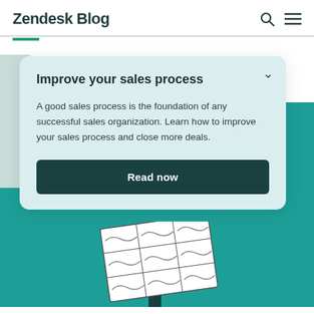Zendesk Blog
Improve your sales process
A good sales process is the foundation of any successful sales organization. Learn how to improve your sales process and close more deals.
Read now
[Figure (illustration): Teal background with a stylized puzzle board illustration held up by a figure, part of Zendesk Blog CTA card design.]